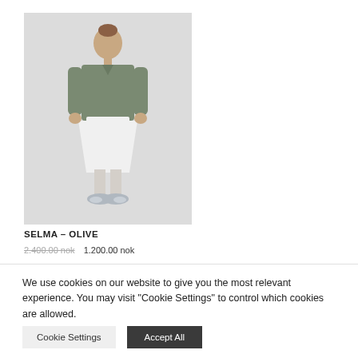[Figure (photo): A person wearing an olive/grey jacket over a white dress, with silver sneakers, standing against a light grey background.]
SELMA – OLIVE
2.400.00 nok  1.200.00 nok
We use cookies on our website to give you the most relevant experience. You may visit "Cookie Settings" to control which cookies are allowed.